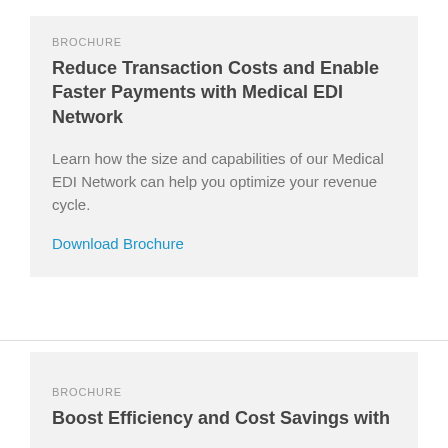BROCHURE
Reduce Transaction Costs and Enable Faster Payments with Medical EDI Network
Learn how the size and capabilities of our Medical EDI Network can help you optimize your revenue cycle.
Download Brochure
BROCHURE
Boost Efficiency and Cost Savings with